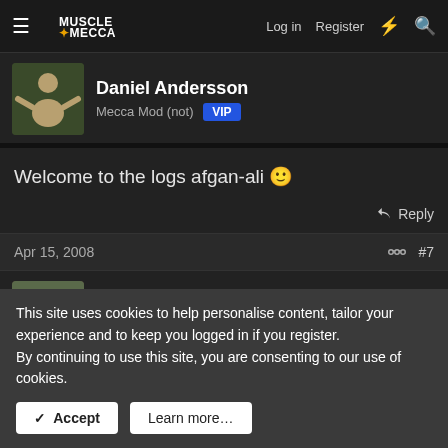MuscleAndMecca — Log in  Register
Daniel Andersson
Mecca Mod (not) VIP
Welcome to the logs afgan-ali 🙂
Reply
Apr 15, 2008  #7
afgan-ali
Well-known member  Member
took a day off yesterdaii because things came up :angrydude:
but bak too gym again just befor for some shoulders n trans
This site uses cookies to help personalise content, tailor your experience and to keep you logged in if you register.
By continuing to use this site, you are consenting to our use of cookies.
[Accept] [Learn more...]